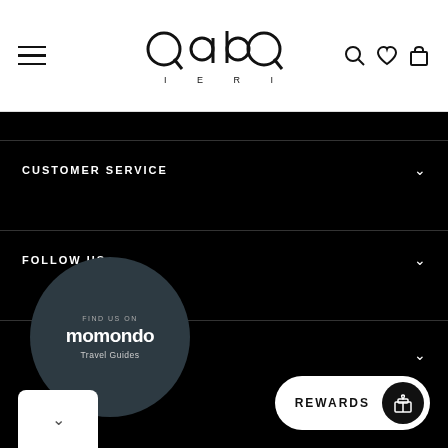[Figure (logo): QABO IERI brand logo in the center of the navigation header]
CUSTOMER SERVICE
FOLLOW US
[Figure (logo): momondo Travel Guides badge - circular dark badge with FIND US ON momondo Travel Guides text]
[Figure (other): REWARDS button with gift icon on the bottom right]
[Figure (other): White card with chevron at bottom left]